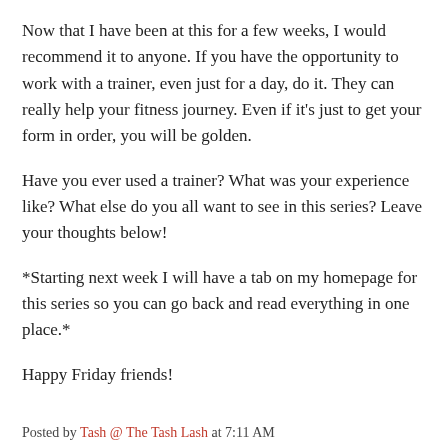Now that I have been at this for a few weeks, I would recommend it to anyone. If you have the opportunity to work with a trainer, even just for a day, do it. They can really help your fitness journey. Even if it's just to get your form in order, you will be golden.
Have you ever used a trainer? What was your experience like? What else do you all want to see in this series? Leave your thoughts below!
*Starting next week I will have a tab on my homepage for this series so you can go back and read everything in one place.*
Happy Friday friends!
Posted by Tash @ The Tash Lash at 7:11 AM